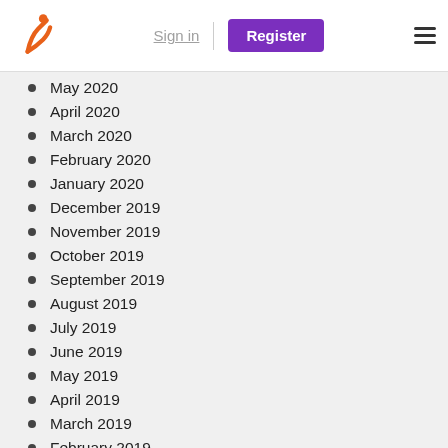Sign in | Register
May 2020
April 2020
March 2020
February 2020
January 2020
December 2019
November 2019
October 2019
September 2019
August 2019
July 2019
June 2019
May 2019
April 2019
March 2019
February 2019
January 2019
December 2018
November 2018
October 2018
September 2018